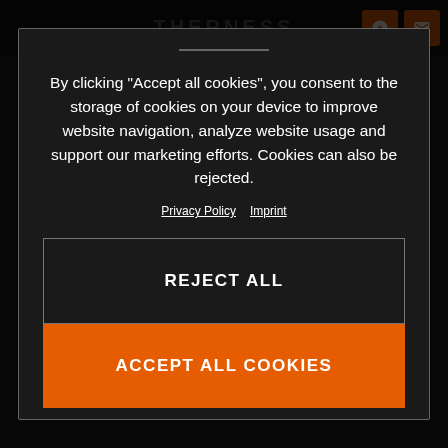[Figure (screenshot): Cookie consent modal dialog overlaying a dark-themed website (KTM Academy). The modal has a divider line, cookie consent text, Privacy Policy and Imprint links, a 'REJECT ALL' button with dark background and border, and an 'ACCEPT ALL COOKIES' button with orange background.]
By clicking “Accept all cookies”, you consent to the storage of cookies on your device to improve website navigation, analyze website usage and support our marketing efforts. Cookies can also be rejected.
Privacy Policy  Imprint
REJECT ALL
ACCEPT ALL COOKIES